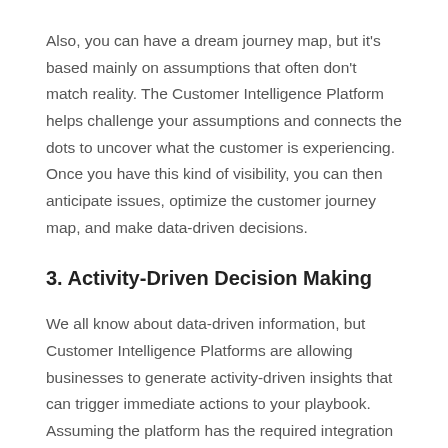Also, you can have a dream journey map, but it's based mainly on assumptions that often don't match reality. The Customer Intelligence Platform helps challenge your assumptions and connects the dots to uncover what the customer is experiencing. Once you have this kind of visibility, you can then anticipate issues, optimize the customer journey map, and make data-driven decisions.
3. Activity-Driven Decision Making
We all know about data-driven information, but Customer Intelligence Platforms are allowing businesses to generate activity-driven insights that can trigger immediate actions to your playbook. Assuming the platform has the required integration and sharing capabilities, it can allow your team to strengthen key relationships proactively, generate better engagement,